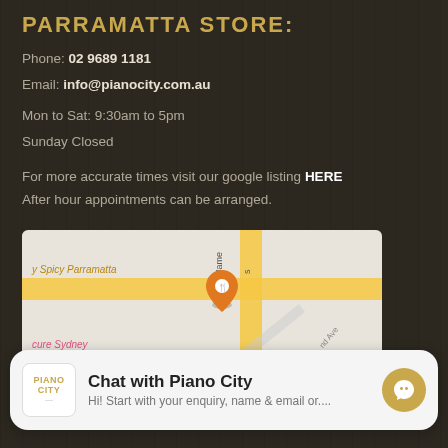PARRAMATTA STORE:
Phone: 02 9689 1181
Email: info@pianocity.com.au
Mon to Sat: 9:30am to 5pm
Sunday Closed
For more accurate times visit our google listing HERE
After hour appointments can be arranged.
VISIT US:
2/142 James Ruse Drive, Parramatta, NSW, 2150
[Figure (map): Google Maps snippet showing location near James Ruse Drive, Parramatta with a marker pin and street labels including 'y Spicy Parramatta' and 'James', 'cure Sydney']
Chat with Piano City
Hi! Start with your enquiry, name & email or....